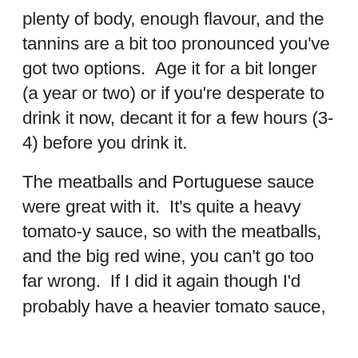plenty of body, enough flavour, and the tannins are a bit too pronounced you've got two options.  Age it for a bit longer (a year or two) or if you're desperate to drink it now, decant it for a few hours (3-4) before you drink it.

The meatballs and Portuguese sauce were great with it.  It's quite a heavy tomato-y sauce, so with the meatballs, and the big red wine, you can't go too far wrong.  If I did it again though I'd probably have a heavier tomato sauce,